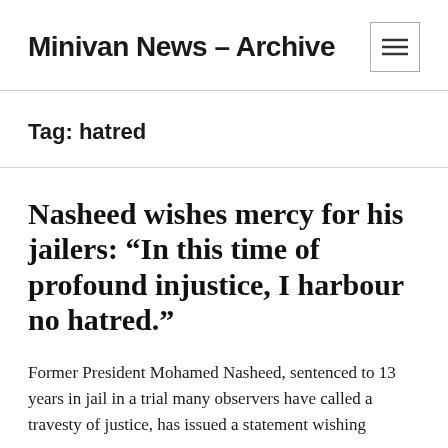Minivan News – Archive
Tag: hatred
Nasheed wishes mercy for his jailers: “In this time of profound injustice, I harbour no hatred.”
Former President Mohamed Nasheed, sentenced to 13 years in jail in a trial many observers have called a travesty of justice, has issued a statement wishing